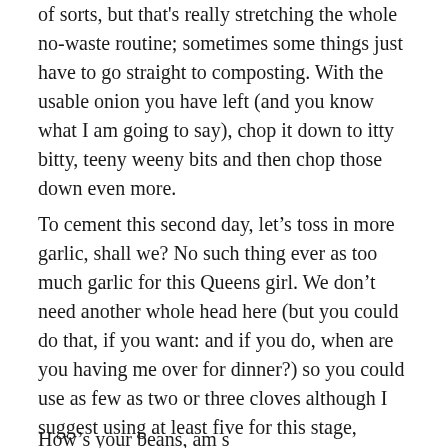of sorts, but that's really stretching the whole no-waste routine; sometimes some things just have to go straight to composting. With the usable onion you have left (and you know what I am going to say), chop it down to itty bitty, teeny weeny bits and then chop those down even more.
To cement this second day, let's toss in more garlic, shall we? No such thing ever as too much garlic for this Queens girl. We don't need another whole head here (but you could do that, if you want: and if you do, when are you having me over for dinner?) so you could use as few as two or three cloves although I suggest using at least five for this stage, especially if they're not that big.
How's your beans, am s...